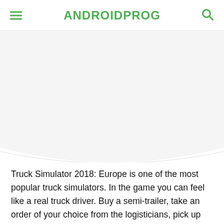ANDROIDPROG
[Figure (photo): Large image area showing a truck simulator game screenshot (mostly white/blank in this view)]
Truck Simulator 2018: Europe is one of the most popular truck simulators. In the game you can feel like a real truck driver. Buy a semi-trailer, take an order of your choice from the logisticians, pick up the cargo and hit the road! Carry out delivery to your destination in the shortest possible